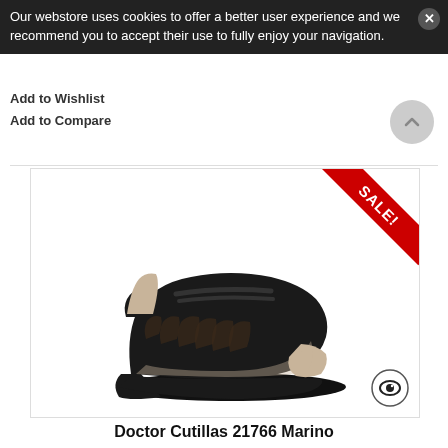Our webstore uses cookies to offer a better user experience and we recommend you to accept their use to fully enjoy your navigation.
Add to Wishlist
Add to Compare
[Figure (photo): Black Doctor Cutillas 21766 Marino sandal/wedge shoe with cutout details and ankle strap, shown on white background with a red SALE! ribbon in the top right corner and an eye icon in the bottom right corner.]
Doctor Cutillas 21766 Marino